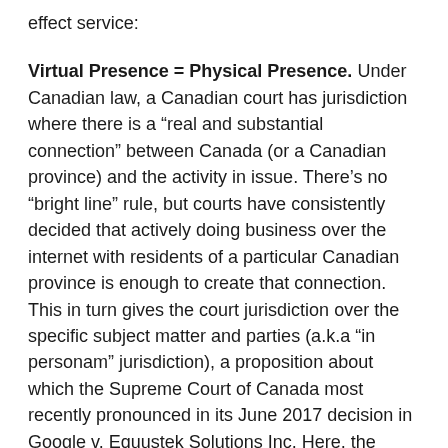effect service:
Virtual Presence = Physical Presence. Under Canadian law, a Canadian court has jurisdiction where there is a “real and substantial connection” between Canada (or a Canadian province) and the activity in issue. There’s no “bright line” rule, but courts have consistently decided that actively doing business over the internet with residents of a particular Canadian province is enough to create that connection. This in turn gives the court jurisdiction over the specific subject matter and parties (a.k.a “in personam” jurisdiction), a proposition about which the Supreme Court of Canada most recently pronounced in its June 2017 decision in Google v. Equustek Solutions Inc. Here, the Court of Appeal interpreted the Criminal Code provisions as limiting courts’ ability to issue a production order “…only against a person in Canada”, making the question whether Craigslist – a U.S. company with no physical